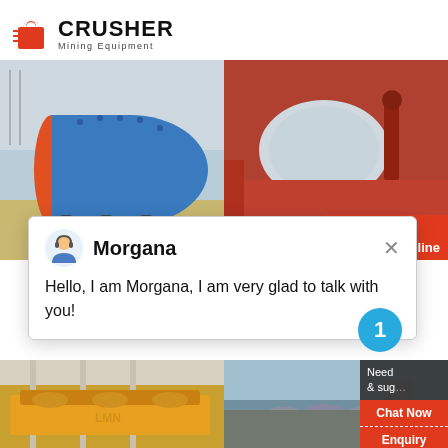[Figure (logo): Crusher Mining Equipment logo with red shopping bag icon and bold CRUSHER text]
[Figure (photo): Blue ball mill industrial grinding machine at a mining facility]
[Figure (photo): Red industrial drum/roller machine with 24Hrs Online badge]
[Figure (screenshot): Chat popup with avatar of Morgana saying Hello, I am Morgana, I am very glad to talk with you!]
[Figure (photo): Yellow flotation machinery in an industrial warehouse]
[Figure (photo): Spiral classifier machines at a processing plant]
Flotation Machinery
Spiral